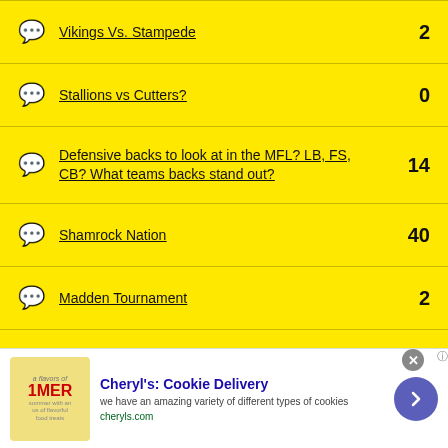Vikings Vs. Stampede — 2
Stallions vs Cutters? — 0
Defensive backs to look at in the MFL? LB, FS, CB? What teams backs stand out? — 14
Shamrock Nation — 40
Madden Tournament — 2
OffICIAL Prediction Thread for 08/02 (POST SCORES AND DETAILS HERE, NOT BELOW) — 24
[Figure (other): Advertisement banner for Cheryl's Cookie Delivery with image, text, and arrow button]